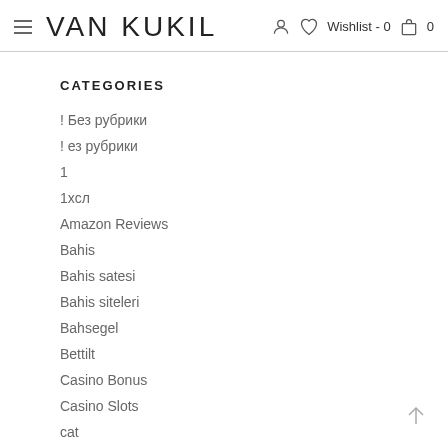VAN KUKIL  Wishlist - 0  0
CATEGORIES
! Без рубрики
! ез рубрики
1
1хсл
Amazon Reviews
Bahis
Bahis satesi
Bahis siteleri
Bahsegel
Bettilt
Casino Bonus
Casino Slots
cat